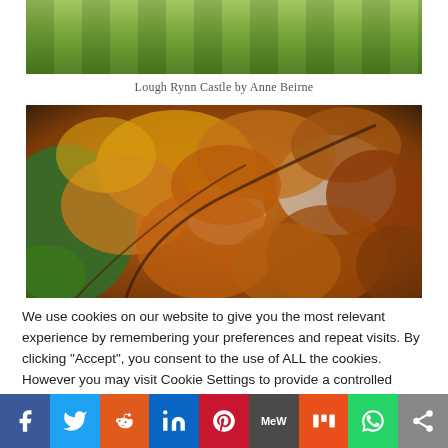[Figure (photo): Top portion of a photo showing a green lawn/garden with mown stripe patterns, partially cropped at top]
Lough Rynn Castle by Anne Beirne
[Figure (photo): Autumn tree canopy photo with orange, red, yellow and brown leaves against a bright sky, densely filling the frame]
We use cookies on our website to give you the most relevant experience by remembering your preferences and repeat visits. By clicking "Accept", you consent to the use of ALL the cookies. However you may visit Cookie Settings to provide a controlled consent.